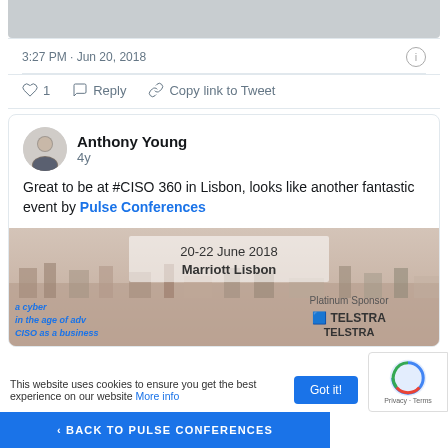[Figure (screenshot): Top portion of a tweet showing a cropped image (grey area)]
3:27 PM · Jun 20, 2018
♡ 1   Reply   Copy link to Tweet
[Figure (screenshot): Tweet by Anthony Young, 4y ago: Great to be at #CISO 360 in Lisbon, looks like another fantastic event by Pulse Conferences. Below tweet is an event banner image for 20-22 June 2018, Marriott Lisbon with Platinum Sponsor TELSTRA.]
This website uses cookies to ensure you get the best experience on our website More info
Got it!
< BACK TO PULSE CONFERENCES